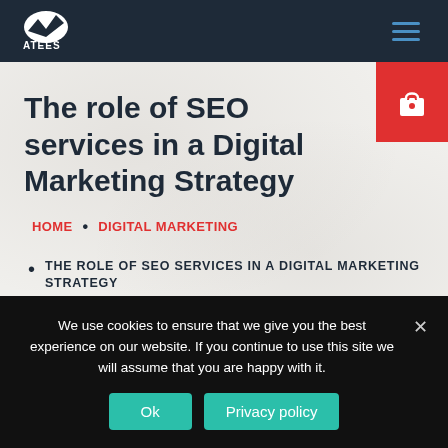ATEES
The role of SEO services in a Digital Marketing Strategy
HOME • DIGITAL MARKETING
THE ROLE OF SEO SERVICES IN A DIGITAL MARKETING STRATEGY
We use cookies to ensure that we give you the best experience on our website. If you continue to use this site we will assume that you are happy with it.
Ok  Privacy policy